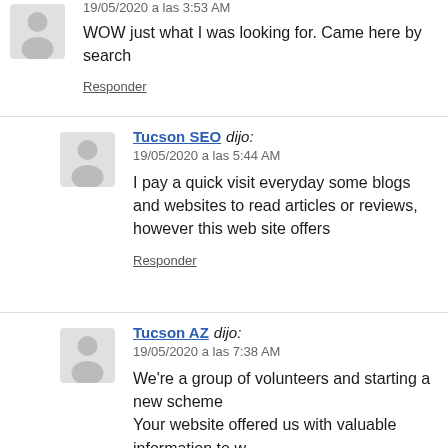19/05/2020 a las 3:53 AM
WOW just what I was looking for. Came here by search
Responder
Tucson SEO dijo:
19/05/2020 a las 5:44 AM
I pay a quick visit everyday some blogs and websites to read articles or reviews, however this web site offers
Responder
Tucson AZ dijo:
19/05/2020 a las 7:38 AM
We're a group of volunteers and starting a new scheme Your website offered us with valuable information to w